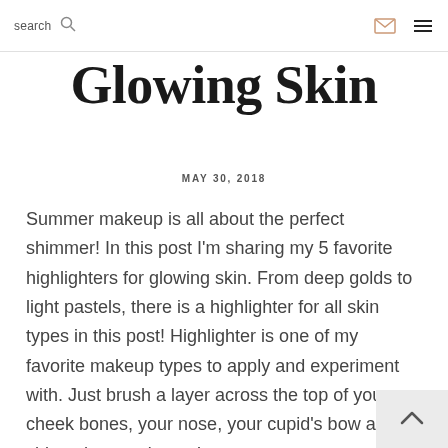search
Glowing Skin
MAY 30, 2018
Summer makeup is all about the perfect shimmer! In this post I'm sharing my 5 favorite highlighters for glowing skin. From deep golds to light pastels, there is a highlighter for all skin types in this post! Highlighter is one of my favorite makeup types to apply and experiment with. Just brush a layer across the top of your cheek bones, your nose, your cupid's bow and chin – then you're set!